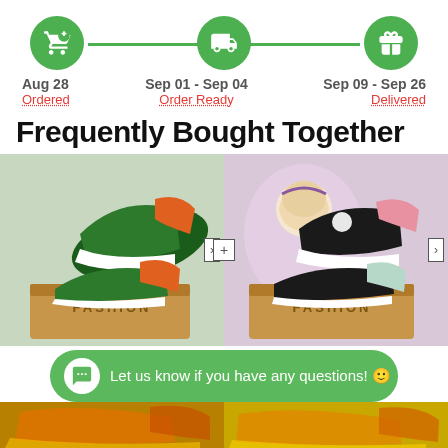[Figure (infographic): Order tracking progress bar with three green circle icons (shopping cart, delivery truck, gift box) connected by a green horizontal line]
Aug 28
Ordered
Sep 01 - Sep 04
Order Ready
Sep 09 - Sep 26
Delivered
Frequently Bought Together
[Figure (photo): Custom anime-themed Air Jordan 1 sneaker in green and orange colors with character artwork, displayed on a box]
[Figure (photo): Custom anime-themed Air Jordan 1 sneaker in black, pink, and mint colors with character artwork, displayed on a box]
Let us know if you have any questions! 😊
[Figure (photo): Partial bottom view of two more custom sneakers in yellow/orange tones]